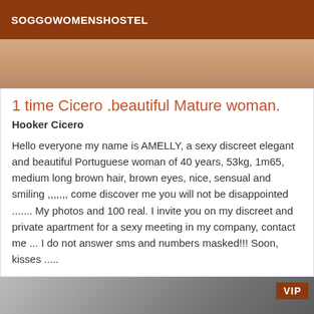SOGGOWOMENSHOSTEL
[Figure (photo): Close-up photo of skin tones in warm beige/brown colors, top portion of a listing card]
1 time Cicero .beautiful Mature woman.
Hooker Cicero
Hello everyone my name is AMELLY, a sexy discreet elegant and beautiful Portuguese woman of 40 years, 53kg, 1m65, medium long brown hair, brown eyes, nice, sensual and smiling ,,,,,,, come discover me you will not be disappointed ....... My photos and 100 real. I invite you on my discreet and private apartment for a sexy meeting in my company, contact me ... I do not answer sms and numbers masked!!! Soon, kisses .....
[Figure (photo): Black and white photo of a person lying down, with VIP badge in top right corner]